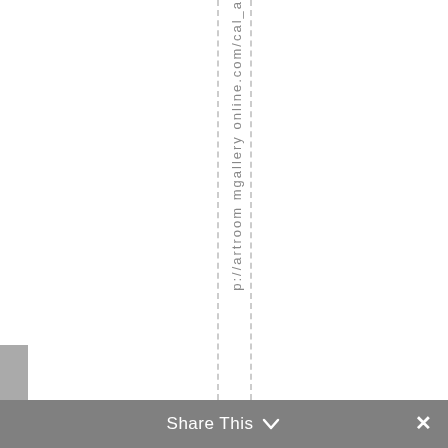p://artroom mgallery online.com/cal_a
Share This ∨ ✕